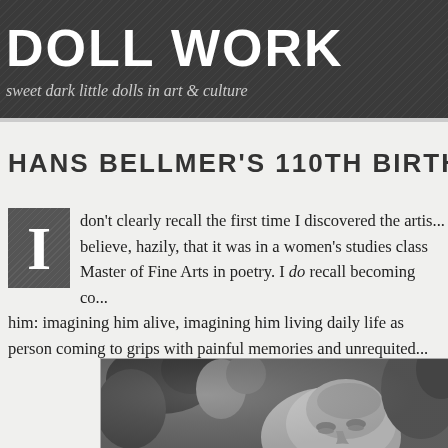DOLL WORK
sweet dark little dolls in art & culture
HANS BELLMER'S 110TH BIRTH...
I don't clearly recall the first time I discovered the artis... believe, hazily, that it was in a women's studies class... Master of Fine Arts in poetry. I do recall becoming co... him: imagining him alive, imagining him living daily life as... person coming to grips with painful memories and unrequited...
[Figure (photo): Black and white photograph of a man (Hans Bellmer) with sculptural forms visible in the background]